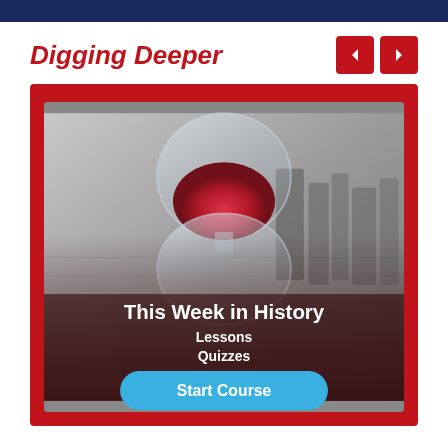Digging Deeper
[Figure (screenshot): Educational course card for 'This Week in History' showing an hourglass image with red sand on a newspaper background, with a dark overlay containing course title, Lessons, Quizzes links, and a Start Course button in blue.]